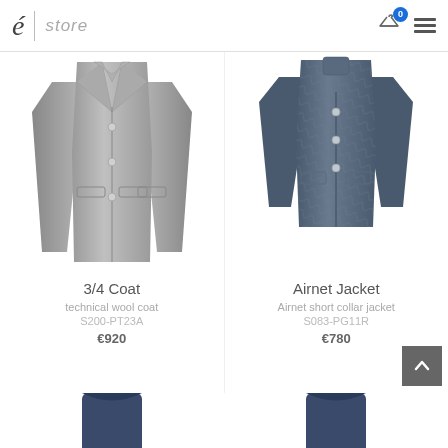é | store
[Figure (photo): Grey 3/4 length technical wool coat on white background]
[Figure (photo): Navy blue Airnet short collar jacket on white background]
3/4 Coat
technical wool coat
S200-PT23A
€920
Airnet Jacket
Airnet short collar jacket
S083-PG11R
€780
[Figure (photo): Partial view of navy blue garment at bottom left]
[Figure (photo): Partial view of navy blue garment at bottom right]